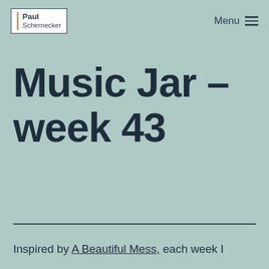Paul Schernecker | Menu
Music Jar – week 43
Inspired by A Beautiful Mess, each week I